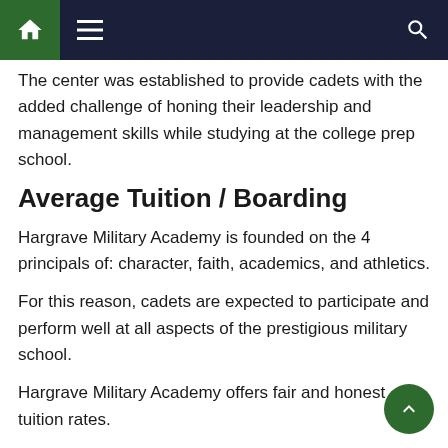Navigation bar with home, menu, and search icons
The center was established to provide cadets with the added challenge of honing their leadership and management skills while studying at the college prep school.
Average Tuition / Boarding
Hargrave Military Academy is founded on the 4 principals of: character, faith, academics, and athletics.
For this reason, cadets are expected to participate and perform well at all aspects of the prestigious military school.
Hargrave Military Academy offers fair and honest tuition rates.
The “Tuition for Life” guarantee secures the same tuition rate